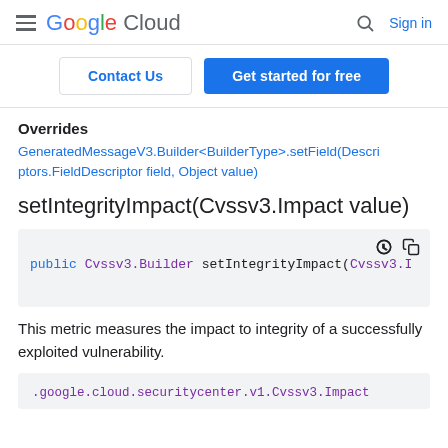Google Cloud — Search | Sign in
Contact Us | Get started for free
Overrides
GeneratedMessageV3.Builder<BuilderType>.setField(Descriptors.FieldDescriptor field, Object value)
setIntegrityImpact(Cvssv3.Impact value)
public Cvssv3.Builder setIntegrityImpact(Cvssv3.I
This metric measures the impact to integrity of a successfully exploited vulnerability.
.google.cloud.securitycenter.v1.Cvssv3.Impact